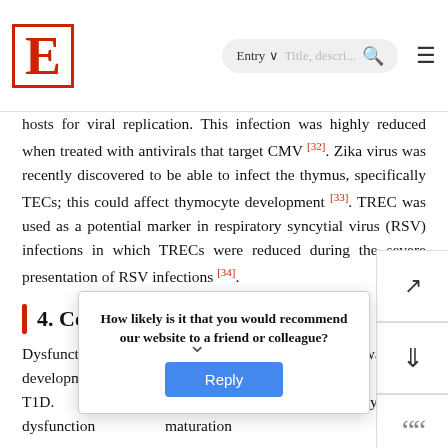E | Entry ~ | Title, description... [search] [menu]
hosts for viral replication. This infection was highly reduced when treated with antivirals that target CMV [32]. Zika virus was recently discovered to be able to infect the thymus, specifically TECs; this could affect thymocyte development [33]. TREC was used as a potential marker in respiratory syncytial virus (RSV) infections in which TRECs were reduced during the severe presentation of RSV infections [34].
4. Conclusions
Dysfunction of the thymus gland is a crucial step towards the development of organ-specific autoimmune diseases such as T1D. ... inducing ... thymic C dysfunction ... maturation ...